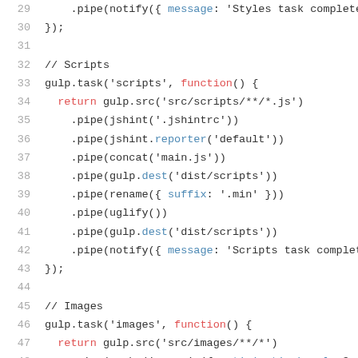[Figure (screenshot): Code snippet showing JavaScript/Gulp build file lines 29-49, with syntax highlighting: line numbers in grey, keywords in red (return, function), object keys and properties in blue, and plain code in dark grey. Lines include pipe/notify for Styles task complete, then Scripts task with jshint, reporter, concat, dest, rename with suffix .min, uglify, dest, notify for Scripts task complete, then Images task with gulp.src for images, pipe cache imagemin with optimizationLevel 3.]